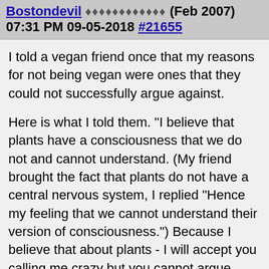Bostondevil ♦♦♦♦♦♦♦♦♦♦♦♦ (Feb 2007) 07:31 PM 09-05-2018 #21655
I told a vegan friend once that my reasons for not being vegan were ones that they could not successfully argue against.

Here is what I told them. "I believe that plants have a consciousness that we do not and cannot understand. (My friend brought the fact that plants do not have a central nervous system, I replied "Hence my feeling that we cannot understand their version of consciousness.") Because I believe that about plants - I will accept you calling me crazy but you cannot argue against that belief. Given that, I believe that all of our nutrition needs require us to kill and consume fellow conscious travelers in this universe. The only way to avoid killing and consuming is to starve myself to death. I am unwilling to do that, therefore I must kill and consume. I choose, as a living being, to try to spread my impact